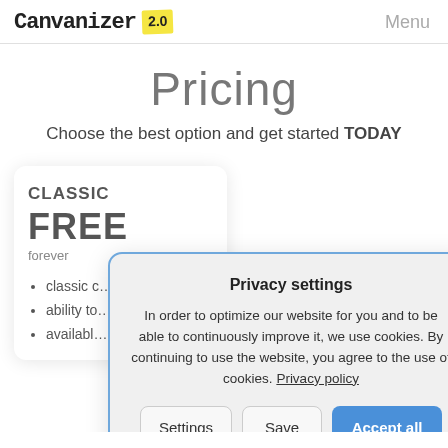Canvanizer 2.0   Menu
Pricing
Choose the best option and get started TODAY
CLASSIC
FREE
forever
classic …
ability to…
availabl…
Privacy settings

In order to optimize our website for you and to be able to continuously improve it, we use cookies. By continuing to use the website, you agree to the use of cookies. Privacy policy
Settings   Save   Accept all